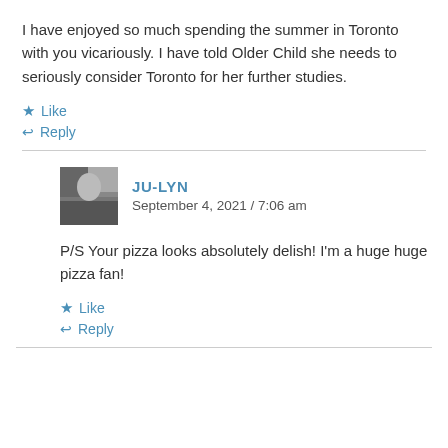I have enjoyed so much spending the summer in Toronto with you vicariously. I have told Older Child she needs to seriously consider Toronto for her further studies.
★ Like
↩ Reply
JU-LYN
September 4, 2021 / 7:06 am
P/S Your pizza looks absolutely delish! I'm a huge huge pizza fan!
★ Like
↩ Reply